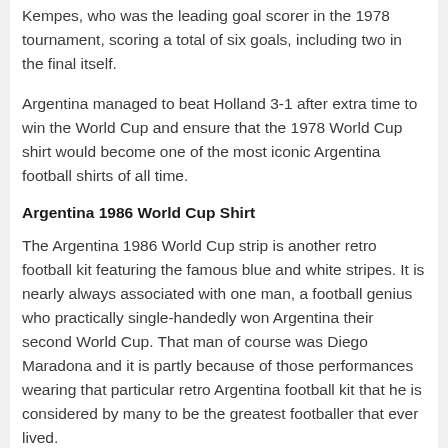Kempes, who was the leading goal scorer in the 1978 tournament, scoring a total of six goals, including two in the final itself.
Argentina managed to beat Holland 3-1 after extra time to win the World Cup and ensure that the 1978 World Cup shirt would become one of the most iconic Argentina football shirts of all time.
Argentina 1986 World Cup Shirt
The Argentina 1986 World Cup strip is another retro football kit featuring the famous blue and white stripes. It is nearly always associated with one man, a football genius who practically single-handedly won Argentina their second World Cup. That man of course was Diego Maradona and it is partly because of those performances wearing that particular retro Argentina football kit that he is considered by many to be the greatest footballer that ever lived.
These vintage football shirts have such a classic look to